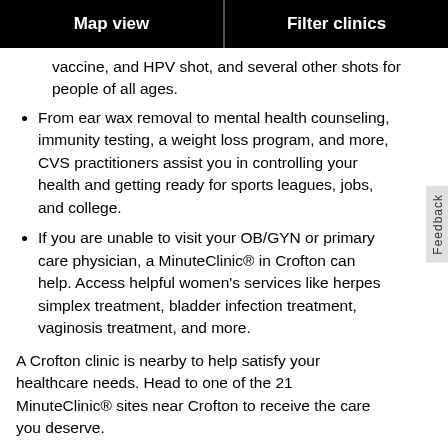Map view | Filter clinics
vaccine, and HPV shot, and several other shots for people of all ages.
From ear wax removal to mental health counseling, immunity testing, a weight loss program, and more, CVS practitioners assist you in controlling your health and getting ready for sports leagues, jobs, and college.
If you are unable to visit your OB/GYN or primary care physician, a MinuteClinic® in Crofton can help. Access helpful women's services like herpes simplex treatment, bladder infection treatment, vaginosis treatment, and more.
A Crofton clinic is nearby to help satisfy your healthcare needs. Head to one of the 21 MinuteClinic® sites near Crofton to receive the care you deserve.
Trending Services